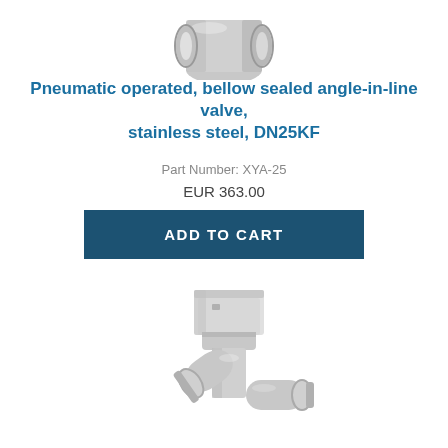[Figure (photo): Partial top view of a pneumatic bellow sealed angle-in-line valve in stainless steel, showing the valve body and flange connections (DN25KF). The image is cropped at the top showing only the lower portion of the valve.]
Pneumatic operated, bellow sealed angle-in-line valve, stainless steel, DN25KF
Part Number: XYA-25
EUR 363.00
ADD TO CART
[Figure (photo): A pneumatic angle-in-line valve made of polished stainless steel with KF flange connections. The valve has a rectangular actuator block on top and two KF flanged ports at an angle. The body is metallic silver/chrome finish.]